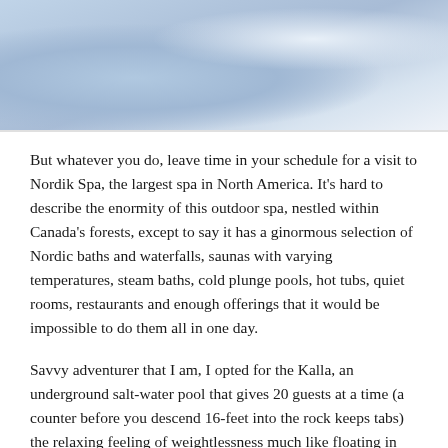[Figure (photo): Blue-toned photo of what appears to be a water or spa-related scene with misty, pale blue tones, likely showing outdoor spa or pool environment.]
But whatever you do, leave time in your schedule for a visit to Nordik Spa, the largest spa in North America. It's hard to describe the enormity of this outdoor spa, nestled within Canada's forests, except to say it has a ginormous selection of Nordic baths and waterfalls, saunas with varying temperatures, steam baths, cold plunge pools, hot tubs, quiet rooms, restaurants and enough offerings that it would be impossible to do them all in one day.
Savvy adventurer that I am, I opted for the Kalla, an underground salt-water pool that gives 20 guests at a time (a counter before you descend 16-feet into the rock keeps tabs) the relaxing feeling of weightlessness much like floating in the Dead Sea. There's only one other pool like it...